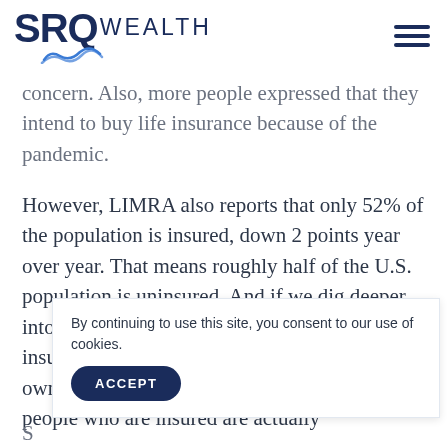SRQ WEALTH
concern. Also, more people expressed that they intend to buy life insurance because of the pandemic.
However, LIMRA also reports that only 52% of the population is insured, down 2 points year over year. That means roughly half of the U.S. population is uninsured. And if we dig deeper into that 52%, we might find that much of that insurance is group-owned versus individually owned. Digging even further, many of those people who are insured are actually u
By continuing to use this site, you consent to our use of cookies.
ACCEPT
S